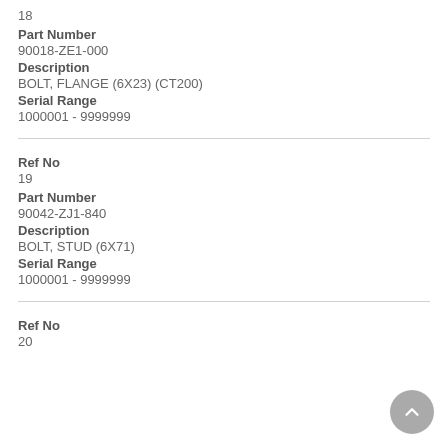18
Part Number
90018-ZE1-000
Description
BOLT, FLANGE (6X23) (CT200)
Serial Range
1000001 - 9999999
Ref No
19
Part Number
90042-ZJ1-840
Description
BOLT, STUD (6X71)
Serial Range
1000001 - 9999999
Ref No
20